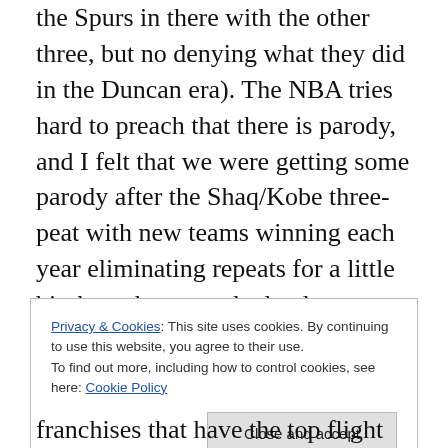the Spurs in there with the other three, but no denying what they did in the Duncan era). The NBA tries hard to preach that there is parody, and I felt that we were getting some parody after the Shaq/Kobe three-peat with new teams winning each year eliminating repeats for a little bit there, but now the landscape feels a lot more clear on who the favorites are again after the Lakers just went back to back. Now, once again isn't much parody, and it will continue to go that way if superstars keep leaving their teams to join multiple superstars in another uniform. The hostage style takeovers of these teams during contract
Privacy & Cookies: This site uses cookies. By continuing to use this website, you agree to their use.
To find out more, including how to control cookies, see here: Cookie Policy
franchises that have the top flight players more power to